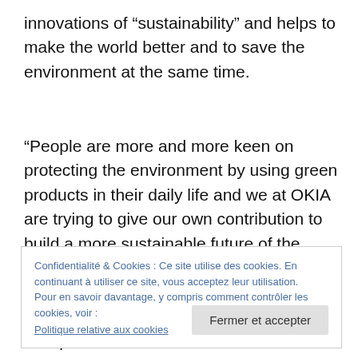innovations of “sustainability” and helps to make the world better and to save the environment at the same time.
“People are more and more keen on protecting the environment by using green products in their daily life and we at OKIA are trying to give our own contribution to build a more sustainable future of the eyewear industry”, comments Jacky Lam, Managing Director at OKIA. “We are always looking for innovations and these new products
Confidentialité & Cookies : Ce site utilise des cookies. En continuant à utiliser ce site, vous acceptez leur utilisation.
Pour en savoir davantage, y compris comment contrôler les cookies, voir :
Politique relative aux cookies
Fermer et accepter